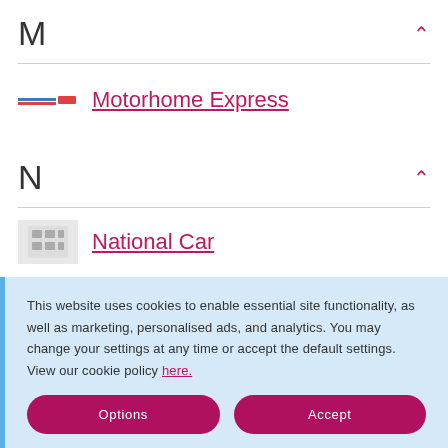M
Motorhome Express
N
National Car
Navcar Rentals
This website uses cookies to enable essential site functionality, as well as marketing, personalised ads, and analytics. You may change your settings at any time or accept the default settings. View our cookie policy here.
Options
Accept